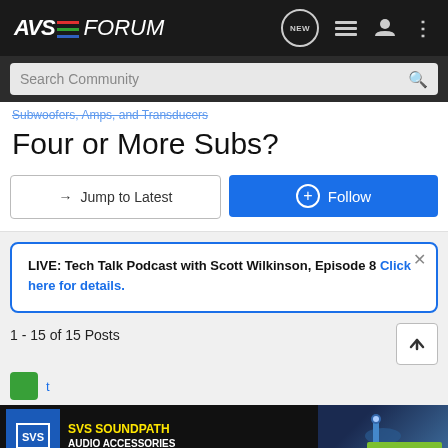AVS FORUM
Search Community
Subwoofers, Amps, and Transducers
Four or More Subs?
→ Jump to Latest
+ Follow
LIVE: Tech Talk Podcast with Scott Wilkinson, Episode 8 Click here for details.
1 - 15 of 15 Posts
[Figure (screenshot): SVS SoundPath Audio Accessories advertisement banner with logo, yellow and white text, and Learn More button]